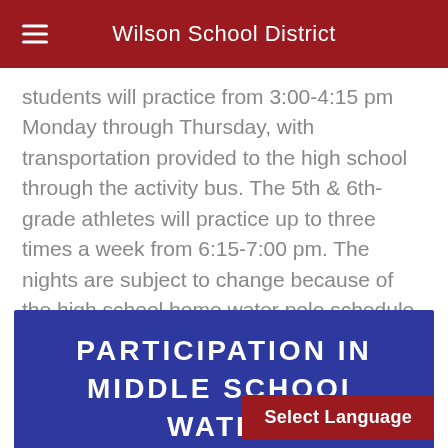Wilson School District
students will practice from 3:00-4:15 pm Monday through Thursday, with transportation provided to the high school through the activity bus. The 5th & 6th-grade athletes will practice up to three times a week from 6:15-7:00 pm. The nights are subject to change because of the high school home water polo schedule. You will be invited to access a google calendar link for practice information.
PARTICIPATION IN MIDDLE SCHOOL WATER POLO REQUIREMENTS:
Select Language